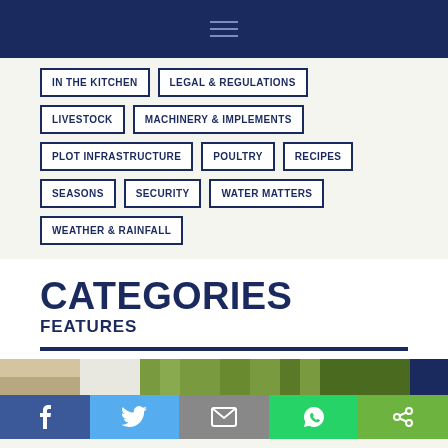Navigation menu header bar
IN THE KITCHEN
LEGAL & REGULATIONS
LIVESTOCK
MACHINERY & IMPLEMENTS
PLOT INFRASTRUCTURE
POULTRY
RECIPES
SEASONS
SECURITY
WATER MATTERS
WEATHER & RAINFALL
CATEGORIES
FEATURES
[Figure (photo): Partial photo strip showing hands and green plants/soil]
Social share bar: Facebook, Twitter, Email, WhatsApp, Share